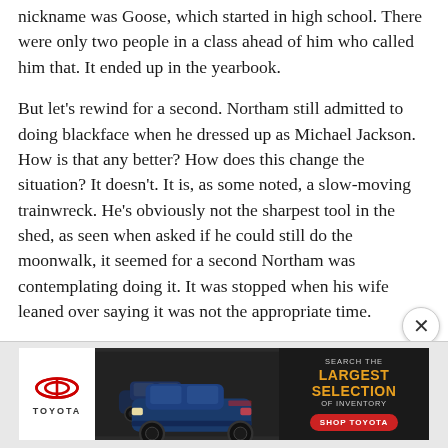nickname was Goose, which started in high school. There were only two people in a class ahead of him who called him that. It ended up in the yearbook.
But let's rewind for a second. Northam still admitted to doing blackface when he dressed up as Michael Jackson. How is that any better? How does this change the situation? It doesn't. It is, as some noted, a slow-moving trainwreck. He's obviously not the sharpest tool in the shed, as seen when asked if he could still do the moonwalk, it seemed for a second Northam was contemplating doing it. It was stopped when his wife leaned over saying it was not the appropriate time.
[Figure (illustration): Toyota advertisement banner showing Toyota logo on left, cars in center, and 'Search the Largest Selection of Inventory - Shop Toyota' text with red button on right against dark background]